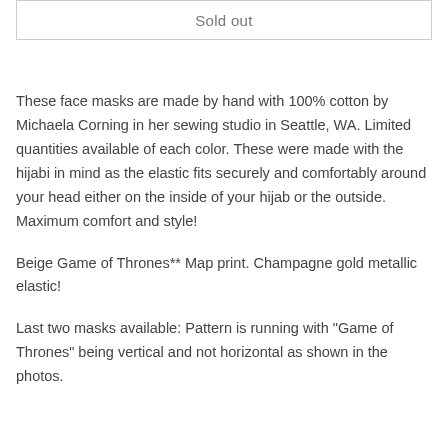Sold out
These face masks are made by hand with 100% cotton by Michaela Corning in her sewing studio in Seattle, WA. Limited quantities available of each color. These were made with the hijabi in mind as the elastic fits securely and comfortably around your head either on the inside of your hijab or the outside. Maximum comfort and style!
Beige Game of Thrones** Map print. Champagne gold metallic elastic!
Last two masks available: Pattern is running with "Game of Thrones" being vertical and not horizontal as shown in the photos.